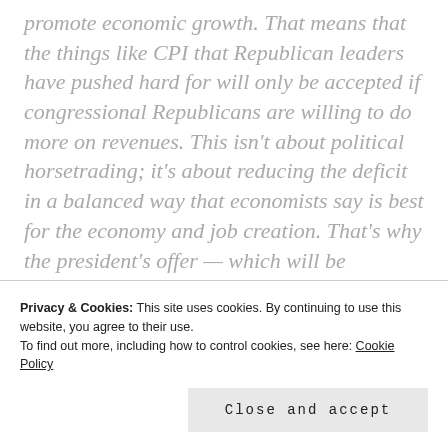promote economic growth. That means that the things like CPI that Republican leaders have pushed hard for will only be accepted if congressional Republicans are willing to do more on revenues. This isn't about political horsetrading; it's about reducing the deficit in a balanced way that economists say is best for the economy and job creation. That's why the president's offer — which will be reflected in his budget — isn't a menu of
Privacy & Cookies: This site uses cookies. By continuing to use this website, you agree to their use.
To find out more, including how to control cookies, see here: Cookie Policy
Close and accept